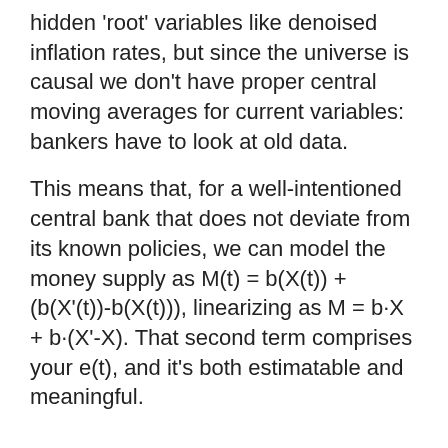hidden 'root' variables like denoised inflation rates, but since the universe is causal we don't have proper central moving averages for current variables: bankers have to look at old data.
This means that, for a well-intentioned central bank that does not deviate from its known policies, we can model the money supply as M(t) = b(X(t)) + (b(X'(t))-b(X(t))), linearizing as M = b·X + b·(X'-X). That second term comprises your e(t), and it's both estimatable and meaningful.